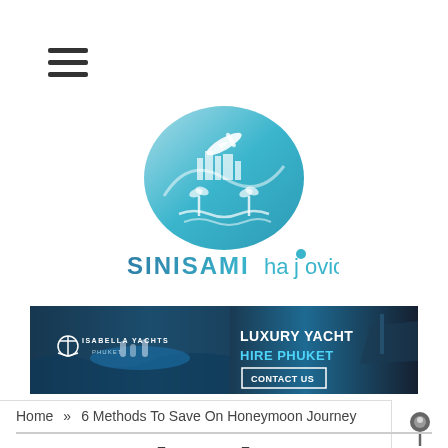[Figure (illustration): Hamburger menu icon (three horizontal lines)]
[Figure (logo): SINISAMIhajovic travel blog logo with oval travel-themed graphic above and stylized text below]
[Figure (illustration): Isabella Yachts Phuket advertisement banner: yacht photo on left, dark blue background with text 'LUXURY YACHT HIRE PHUKET' and 'CONTACT US' button on right]
Home » 6 Methods To Save On Honeymoon Journey
6 Methods To